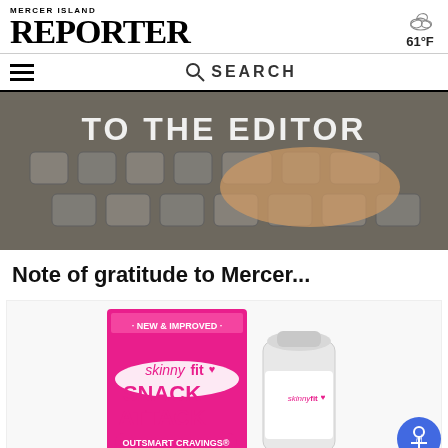MERCER ISLAND REPORTER
[Figure (screenshot): Website header showing Mercer Island Reporter logo with weather icon showing 61°F, hamburger menu icon, and SEARCH bar]
[Figure (photo): Hands typing on a keyboard with overlaid text reading TO THE EDITOR]
Note of gratitude to Mercer...
[Figure (photo): SkinnyFit advertisement showing Snack Attack product - New & Improved, Outsmart Cravings, with box packaging and supplement bottle]